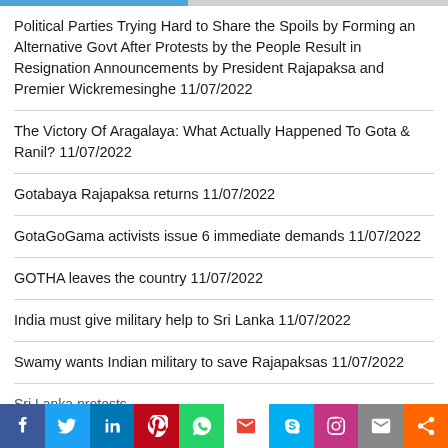Political Parties Trying Hard to Share the Spoils by Forming an Alternative Govt After Protests by the People Result in Resignation Announcements by President Rajapaksa and Premier Wickremesinghe 11/07/2022
The Victory Of Aragalaya: What Actually Happened To Gota & Ranil? 11/07/2022
Gotabaya Rajapaksa returns 11/07/2022
GotaGoGama activists issue 6 immediate demands 11/07/2022
GOTHA leaves the country 11/07/2022
India must give military help to Sri Lanka 11/07/2022
Swamy wants Indian military to save Rajapaksas 11/07/2022
[Figure (infographic): Social media share bar with icons: Facebook (blue), Twitter (light blue), LinkedIn (blue), Pinterest (red), WhatsApp (green), Gmail (white/red), Skype (light blue), Instagram (purple), Email (gray), Share (orange)]